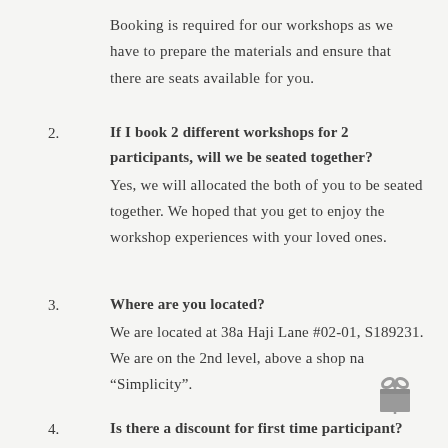Booking is required for our workshops as we have to prepare the materials and ensure that there are seats available for you.
2. If I book 2 different workshops for 2 participants, will we be seated together? Yes, we will allocated the both of you to be seated together. We hoped that you get to enjoy the workshop experiences with your loved ones.
3. Where are you located? We are located at 38a Haji Lane #02-01, S189231. We are on the 2nd level, above a shop na "Simplicity".
4. Is there a discount for first time participant?